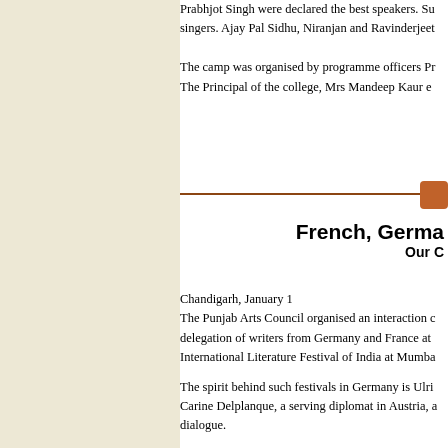Prabhjot Singh were declared the best speakers. Su singers. Ajay Pal Sidhu, Niranjan and Ravinderjeet
The camp was organised by programme officers Pr The Principal of the college, Mrs Mandeep Kaur e
French, Germa Our C
Chandigarh, January 1
The Punjab Arts Council organised an interaction c delegation of writers from Germany and France at International Literature Festival of India at Mumb
The spirit behind such festivals in Germany is Ulri Carine Delplanque, a serving diplomat in Austria, a dialogue.
Initiating the dialogue, Rajwinder Singh, who bein important link with alien languages and related pro
He observed that with the advent of globalisation t comity of nations leading to an integrated developm played a constructive role in transforming the wurl